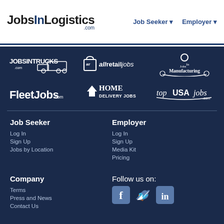JobsInLogistics.com | Job Seeker | Employer
[Figure (logo): JobsInTrucks.com logo]
[Figure (logo): allretailjobs logo]
[Figure (logo): Jobs in Manufacturing logo]
[Figure (logo): FleetJobs.com logo]
[Figure (logo): Home Delivery Jobs logo]
[Figure (logo): topUSAjobs.com logo]
Job Seeker
Log In
Sign Up
Jobs by Location
Employer
Log In
Sign Up
Media Kit
Pricing
Company
Terms
Press and News
Contact Us
Follow us on:
[Figure (illustration): Facebook, Twitter, LinkedIn social media icons]